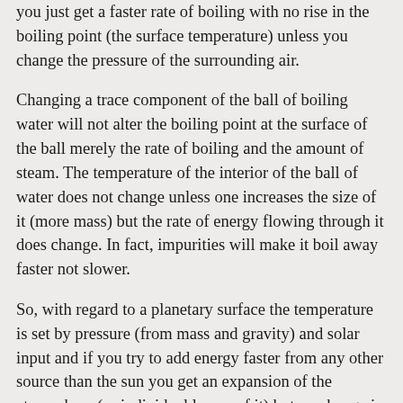you just get a faster rate of boiling with no rise in the boiling point (the surface temperature) unless you change the pressure of the surrounding air.
Changing a trace component of the ball of boiling water will not alter the boiling point at the surface of the ball merely the rate of boiling and the amount of steam. The temperature of the interior of the ball of water does not change unless one increases the size of it (more mass) but the rate of energy flowing through it does change. In fact, impurities will make it boil away faster not slower.
So, with regard to a planetary surface the temperature is set by pressure (from mass and gravity) and solar input and if you try to add energy faster from any other source than the sun you get an expansion of the atmosphere (or individual layers of it) but no change in surface temperature unless you also alter atmospheric or planetary mass.
The mistake of climate science has been to try to ascertain the surface temperature by applying the Stephan-Boltzmann Law downward from the effective radiating height.